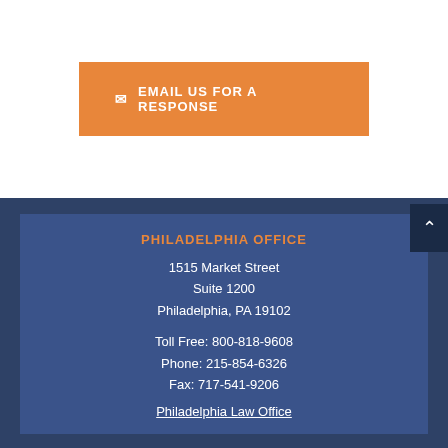[Figure (other): Orange email button with envelope icon and text 'EMAIL US FOR A RESPONSE']
PHILADELPHIA OFFICE
1515 Market Street
Suite 1200
Philadelphia, PA 19102
Toll Free: 800-818-9608
Phone: 215-854-6326
Fax: 717-541-9206
Philadelphia Law Office